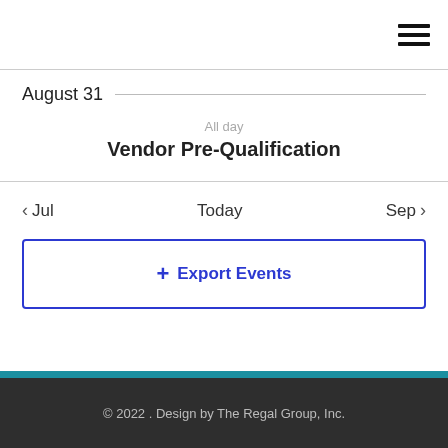[Figure (screenshot): Hamburger menu icon (three horizontal lines) in top right corner]
August 31
All day
Vendor Pre-Qualification
◀ Jul   Today   Sep ▶
+ Export Events
© 2022 . Design by The Regal Group, Inc.